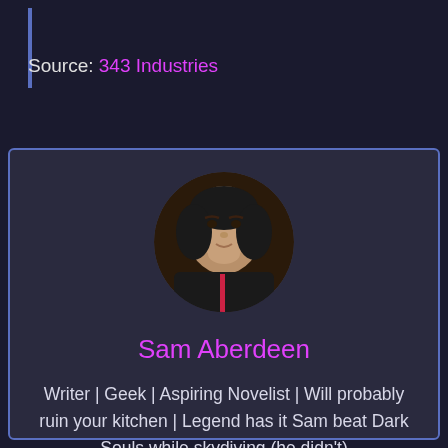Source: 343 Industries
[Figure (photo): Circular profile photo of Sam Aberdeen, a person wearing a black hijab and dark clothing]
Sam Aberdeen
Writer | Geek | Aspiring Novelist | Will probably ruin your kitchen | Legend has it Sam beat Dark Souls while skydiving (he didn't)